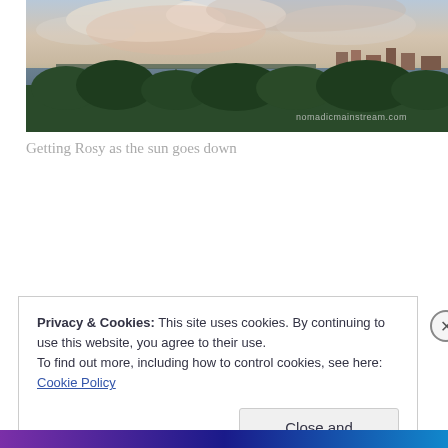[Figure (photo): Panoramic sunset photo showing a river with a bridge, green trees in the foreground, and a city skyline in the background under a cloudy sky. Watermark reads 'nomadicmainstream.com']
Getting Rosy as the sun goes down
Privacy & Cookies: This site uses cookies. By continuing to use this website, you agree to their use.
To find out more, including how to control cookies, see here: Cookie Policy
Close and accept